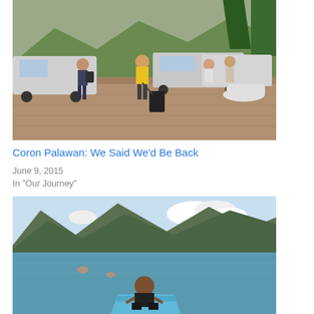[Figure (photo): People with luggage arriving at a resort or hotel parking area with vans, green trees and mountains in the background. A man in a yellow shirt pulls a large black suitcase.]
Coron Palawan: We Said We'd Be Back
June 9, 2015
In "Our Journey"
[Figure (photo): A person sitting on the bow of a boat looking out at the sea with mountains in the background; other people swimming in the calm blue-green water.]